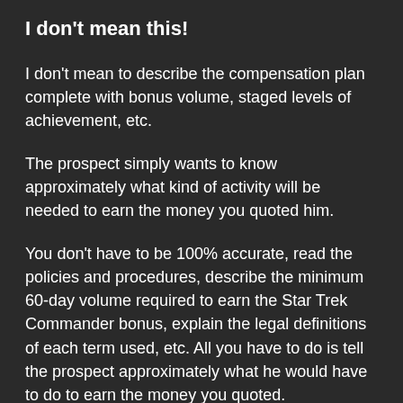I don't mean this!
I don't mean to describe the compensation plan complete with bonus volume, staged levels of achievement, etc.
The prospect simply wants to know approximately what kind of activity will be needed to earn the money you quoted him.
You don't have to be 100% accurate, read the policies and procedures, describe the minimum 60-day volume required to earn the Star Trek Commander bonus, explain the legal definitions of each term used, etc. All you have to do is tell the prospect approximately what he would have to do to earn the money you quoted.
Want some examples?